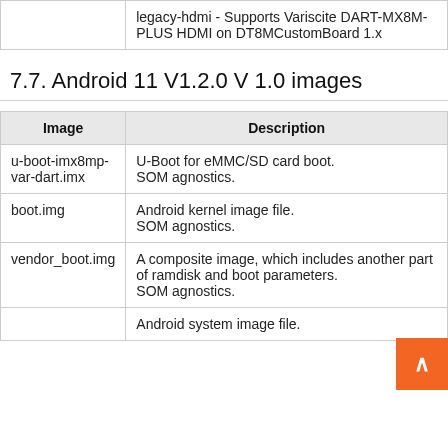| Image | Description |
| --- | --- |
|  | legacy-hdmi - Supports Variscite DART-MX8M-PLUS HDMI on DT8MCustomBoard 1.x |
7.7. Android 11 V1.2.0 V 1.0 images
| Image | Description |
| --- | --- |
| u-boot-imx8mp-var-dart.imx | U-Boot for eMMC/SD card boot. SOM agnostics. |
| boot.img | Android kernel image file. SOM agnostics. |
| vendor_boot.img | A composite image, which includes another part of ramdisk and boot parameters. SOM agnostics. |
|  | Android system image file. |